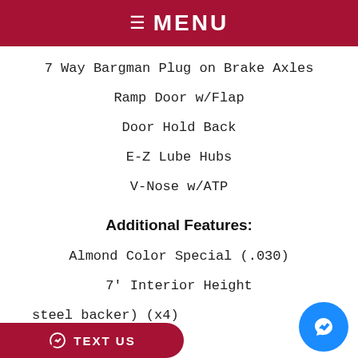≡ MENU
7 Way Bargman Plug on Brake Axles
Ramp Door w/Flap
Door Hold Back
E-Z Lube Hubs
V-Nose w/ATP
Additional Features:
Almond Color Special (.030)
7' Interior Height
steel backer) (x4)
TEXT US